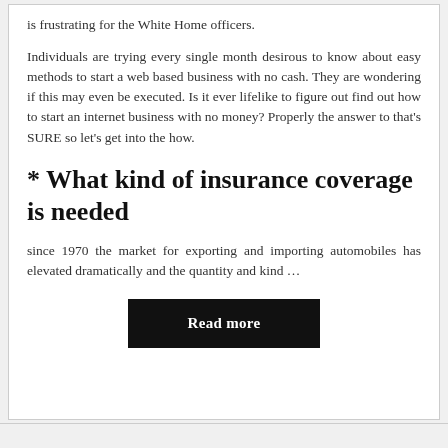is frustrating for the White Home officers.
Individuals are trying every single month desirous to know about easy methods to start a web based business with no cash. They are wondering if this may even be executed. Is it ever lifelike to figure out find out how to start an internet business with no money? Properly the answer to that’s SURE so let’s get into the how.
* What kind of insurance coverage is needed
since 1970 the market for exporting and importing automobiles has elevated dramatically and the quantity and kind …
Read more